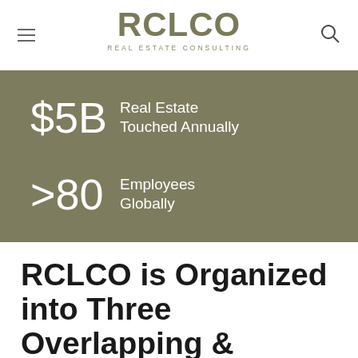RCLCO REAL ESTATE CONSULTING
$5B Real Estate Touched Annually
>80 Employees Globally
RCLCO is Organized into Three Overlapping & Reinforcing Service Areas